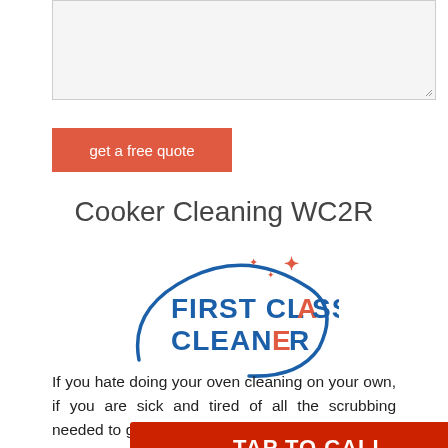[Figure (screenshot): Textarea input box (grayed out form field with resize handle at bottom-right)]
get a free quote
Cooker Cleaning WC2R
[Figure (logo): First Class Cleaner logo: blue and orange text with a curved swoosh and sparkle stars]
If you hate doing your oven cleaning on your own, if you are sick and tired of all the scrubbing needed to get the grease off, please give us a call now. We are a cleaning anywhere in Temple, WC2R and this is what we do best –
[Figure (other): TAP TO CALL red button overlay]